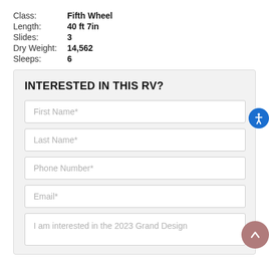Class: Fifth Wheel
Length: 40 ft 7in
Slides: 3
Dry Weight: 14,562
Sleeps: 6
INTERESTED IN THIS RV?
First Name*
Last Name*
Phone Number*
Email*
I am interested in the 2023 Grand Design